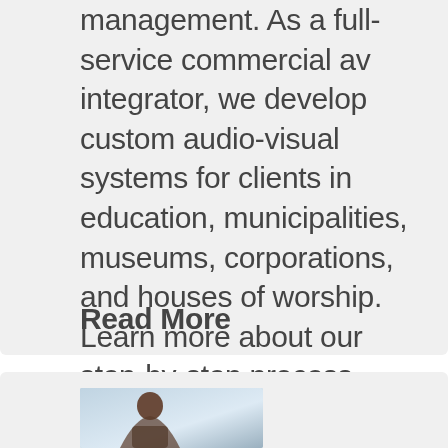management. As a full-service commercial av integrator, we develop custom audio-visual systems for clients in education, municipalities, museums, corporations, and houses of worship. Learn more about our step-by-step process here. Audio Visual Integrator Effective AV solutions begin with data collection and fact-finding. Next,…
Read More
[Figure (photo): Partial photo of a person (woman) visible at bottom of page, cropped]